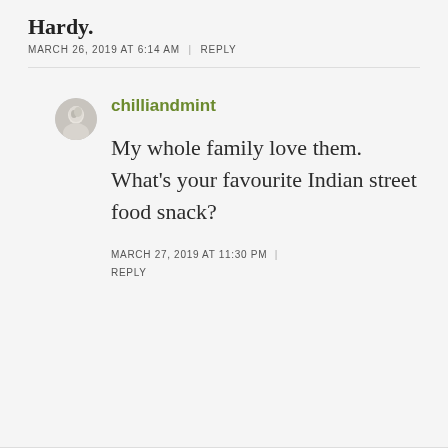MARCH 26, 2019 AT 6:14 AM | REPLY
chilliandmint
My whole family love them. What’s your favourite Indian street food snack?
MARCH 27, 2019 AT 11:30 PM | REPLY